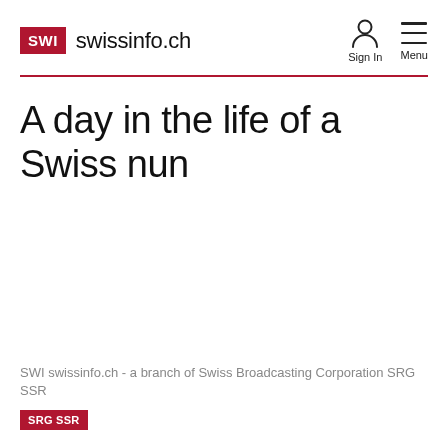SWI swissinfo.ch
A day in the life of a Swiss nun
SWI swissinfo.ch - a branch of Swiss Broadcasting Corporation SRG SSR